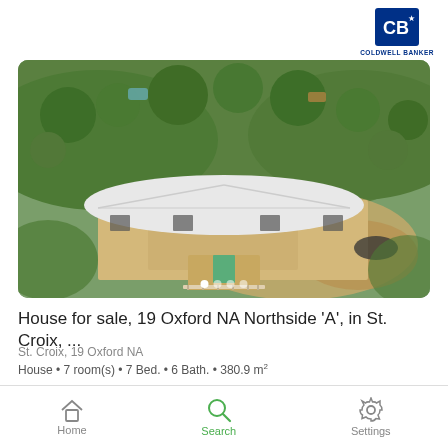[Figure (logo): Coldwell Banker logo — blue square with CB letters and star, brand name below]
[Figure (photo): Aerial drone photograph of a house with white roof surrounded by green hillside vegetation, showing the building from above at an angle. Carousel dots visible at bottom.]
House for sale, 19 Oxford NA Northside 'A', in St. Croix, ...
St. Croix, 19 Oxford NA
House • 7 room(s) • 7 Bed. • 6 Bath. • 380.9 m²
THB 44,594,160
Home   Search   Settings